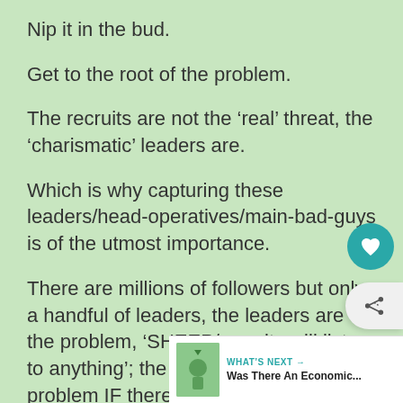Nip it in the bud.
Get to the root of the problem.
The recruits are not the ‘real’ threat, the ‘charismatic’ leaders are.
Which is why capturing these leaders/head-operatives/main-bad-guys is of the utmost importance.
There are millions of followers but only a handful of leaders, the leaders are the problem, ‘SHEEP/recruits will listen to anything’; the recruits not be a problem IF there is no one egging them on or telling them what